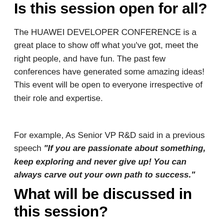Is this session open for all?
The HUAWEI DEVELOPER CONFERENCE is a great place to show off what you've got, meet the right people, and have fun. The past few conferences have generated some amazing ideas! This event will be open to everyone irrespective of their role and expertise.
For example, As Senior VP R&D said in a previous speech “If you are passionate about something, keep exploring and never give up! You can always carve out your own path to success.”
What will be discussed in this session?